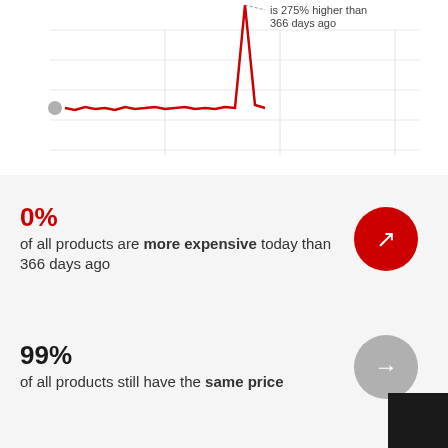[Figure (line-chart): Line chart showing price history. Red line with a sharp spike upward. Annotation reads 'is 275% higher than 366 days ago'. Gray dot on left side of chart.]
0% of all products are more expensive today than 366 days ago
99% of all products still have the same price
0% of all products are cheaper today than 366 days ago